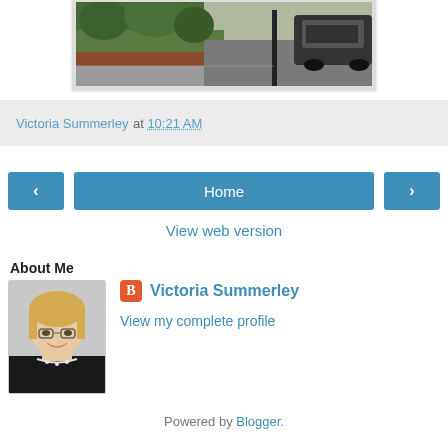[Figure (photo): Street scene photo showing a sidewalk with vegetation in raised planter, a brick wall, a dark lamppost, and a parked dark SUV on the right. Grey pavement visible.]
Victoria Summerley at 10:21 AM
‹
Home
›
View web version
About Me
[Figure (photo): Profile photo of a smiling blonde woman wearing glasses and a black top with a pearl necklace.]
Victoria Summerley
View my complete profile
Powered by Blogger.